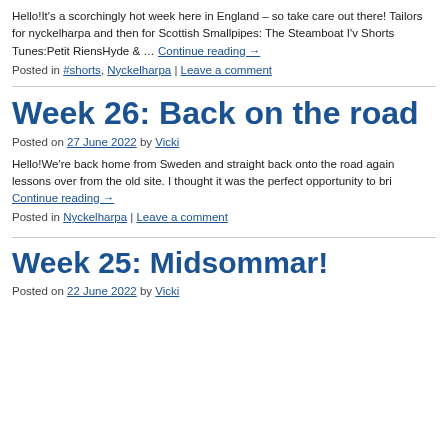Hello!It's a scorchingly hot week here in England – so take care out there! Tailors for nyckelharpa and then for Scottish Smallpipes: The Steamboat I'v Shorts Tunes:Petit RiensHyde & … Continue reading →
Posted in #shorts, Nyckelharpa | Leave a comment
Week 26: Back on the road
Posted on 27 June 2022 by Vicki
Hello!We're back home from Sweden and straight back onto the road again lessons over from the old site. I thought it was the perfect opportunity to bri Continue reading →
Posted in Nyckelharpa | Leave a comment
Week 25: Midsommar!
Posted on 22 June 2022 by Vicki